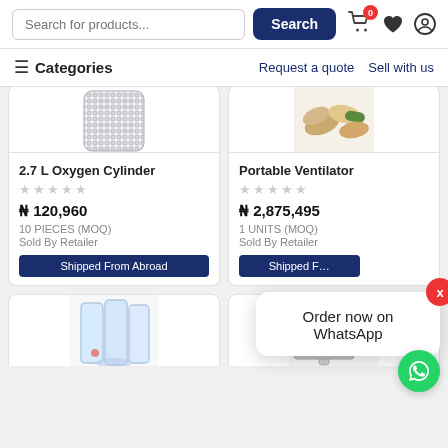Search for products... | Search | Cart (0) | Wishlist | Account
≡ Categories | Request a quote | Sell with us
[Figure (screenshot): Partial product image of a cylindrical metallic mesh/filter item (2.7 L Oxygen Cylinder)]
[Figure (screenshot): Partial product image of a Portable Ventilator with pills/capsules visible]
2.7 L Oxygen Cylinder
★★★★★
₦ 120,960
10 PIECES (MOQ)
Sold By Retailer
Shipped From Abroad
Portable Ventilator
★★★★★
₦ 2,875,495
1 UNITS (MOQ)
Sold By Retailer
Shipped F…
[Figure (screenshot): Partial bottom product image showing clear plastic medical device (spirometer)]
[Figure (screenshot): Partial bottom product image showing a medical device/instrument]
Order now on WhatsApp